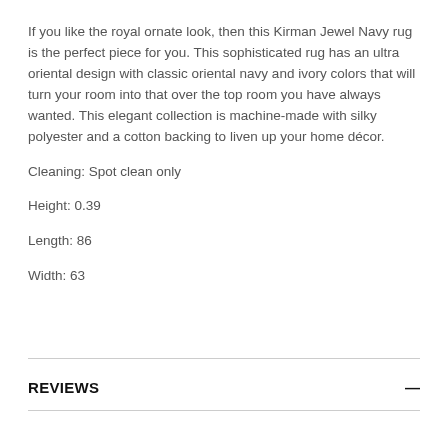If you like the royal ornate look, then this Kirman Jewel Navy rug is the perfect piece for you. This sophisticated rug has an ultra oriental design with classic oriental navy and ivory colors that will turn your room into that over the top room you have always wanted. This elegant collection is machine-made with silky polyester and a cotton backing to liven up your home décor.
Cleaning: Spot clean only
Height: 0.39
Length: 86
Width: 63
REVIEWS